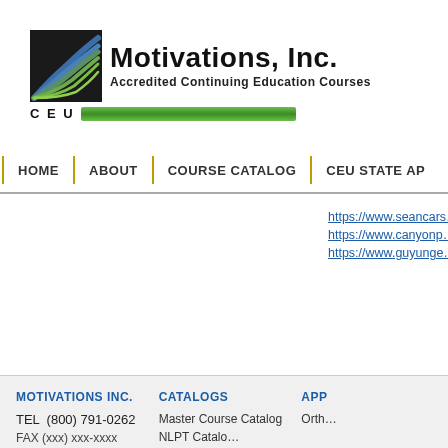[Figure (logo): Motivations Inc. logo with blue/green arc graphic and CEU green progress bar. Text reads 'Motivations, Inc.' and 'Accredited Continuing Education Courses' with 'CEU' and a green bar below.]
HOME | ABOUT | COURSE CATALOG | CEU STATE AP
https://www.seancars... https://www.canyonp... https://www.guyunge...
MOTIVATIONS INC.
TEL  (800) 791-0262
CATALOGS
Master Course Catalog
APP
Orth